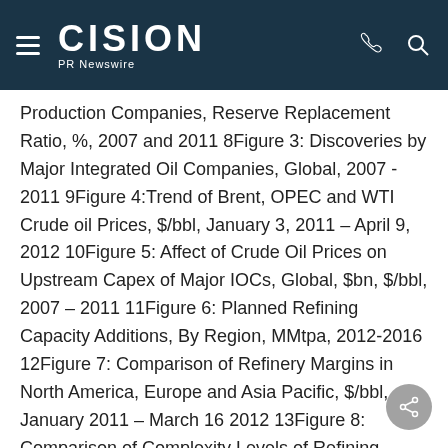CISION PR Newswire
Production Companies, Reserve Replacement Ratio, %, 2007 and 2011 8Figure 3: Discoveries by Major Integrated Oil Companies, Global, 2007 - 2011 9Figure 4:Trend of Brent, OPEC and WTI Crude oil Prices, $/bbl, January 3, 2011 – April 9, 2012 10Figure 5: Affect of Crude Oil Prices on Upstream Capex of Major IOCs, Global, $bn, $/bbl, 2007 – 2011 11Figure 6: Planned Refining Capacity Additions, By Region, MMtpa, 2012-2016 12Figure 7: Comparison of Refinery Margins in North America, Europe and Asia Pacific, $/bbl, January 2011 – March 16 2012 13Figure 8: Comparison of Complexity Levels of Refining Operations of Major IOCs, Nelson's Complexity Index, 2011 14Figure 9: ConocoPhillips, Portfolio of Business on Growth-share